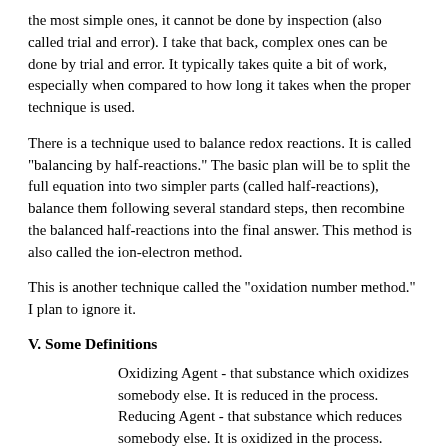the most simple ones, it cannot be done by inspection (also called trial and error). I take that back, complex ones can be done by trial and error. It typically takes quite a bit of work, especially when compared to how long it takes when the proper technique is used.
There is a technique used to balance redox reactions. It is called "balancing by half-reactions." The basic plan will be to split the full equation into two simpler parts (called half-reactions), balance them following several standard steps, then recombine the balanced half-reactions into the final answer. This method is also called the ion-electron method.
This is another technique called the "oxidation number method." I plan to ignore it.
V. Some Definitions
Oxidizing Agent - that substance which oxidizes somebody else. It is reduced in the process.
Reducing Agent - that substance which reduces somebody else. It is oxidized in the process.